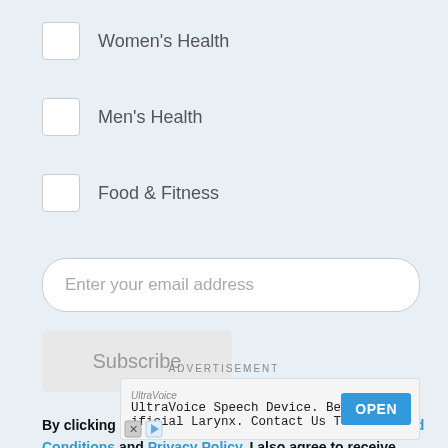Women's Health
Men's Health
Food & Fitness
Enter your email address
Subscribe
By clicking "Subscribe," I agree to the WebMD Terms and Conditions and Privacy Policy. I also agree to receive emails from WebMD and I understand that I may opt out of WebMD subscriptions at any time.
ADVERTISEMENT
UltraVoice
UltraVoice Speech Device. Better Than An ificial Larynx. Contact Us Today.